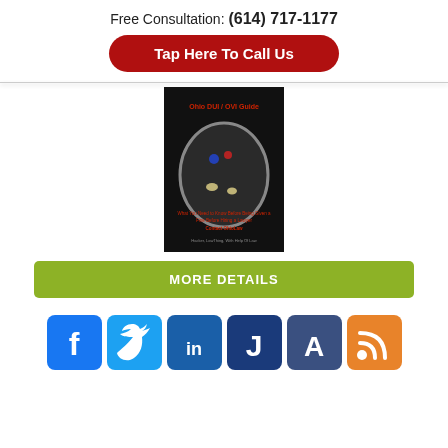Free Consultation: (614) 717-1177
Tap Here To Call Us
[Figure (photo): Book cover for Ohio DUI / OVI Guide showing a car mirror reflecting police lights at night]
MORE DETAILS
[Figure (infographic): Row of social media icons: Facebook, Twitter, LinkedIn, Justia, Avvo, RSS]